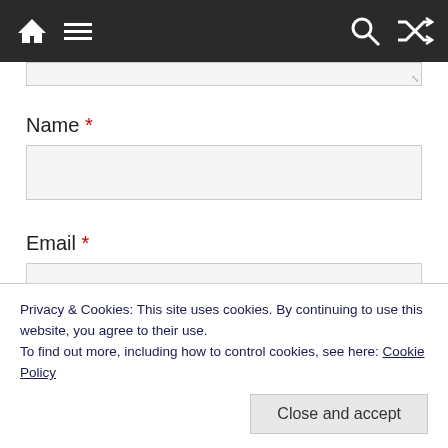Navigation bar with home, menu, search, and shuffle icons
Name *
Email *
Privacy & Cookies: This site uses cookies. By continuing to use this website, you agree to their use. To find out more, including how to control cookies, see here: Cookie Policy
Close and accept